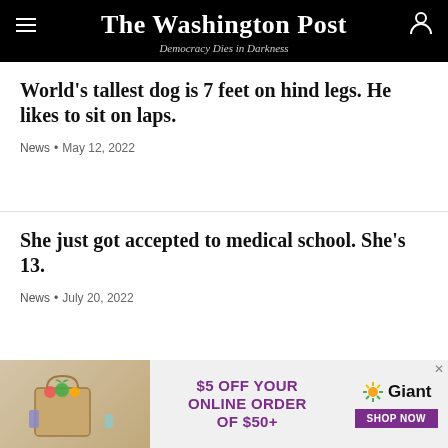The Washington Post — Democracy Dies in Darkness
World's tallest dog is 7 feet on hind legs. He likes to sit on laps.
News • May 12, 2022
She just got accepted to medical school. She's 13.
News • July 20, 2022
Classmates wouldn't sign his yearbook. So older students stepped in.
[Figure (other): Giant grocery advertisement: $5 OFF YOUR ONLINE ORDER OF $50+ with Giant logo and SHOP NOW button, grocery bag image on left]